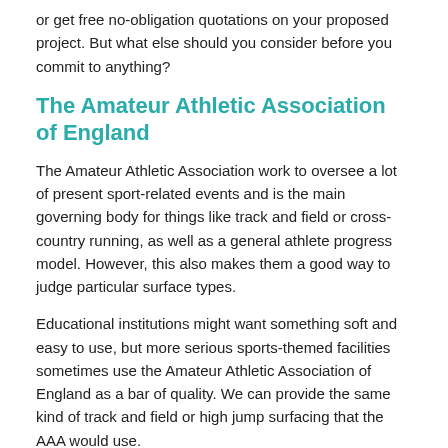or get free no-obligation quotations on your proposed project. But what else should you consider before you commit to anything?
The Amateur Athletic Association of England
The Amateur Athletic Association work to oversee a lot of present sport-related events and is the main governing body for things like track and field or cross-country running, as well as a general athlete progress model. However, this also makes them a good way to judge particular surface types.
Educational institutions might want something soft and easy to use, but more serious sports-themed facilities sometimes use the Amateur Athletic Association of England as a bar of quality. We can provide the same kind of track and field or high jump surfacing that the AAA would use.
It is worth noting that this also applies to other sports equipment and materials, like throwing circles or long jump runways. In fact, many long jump runways are built with sand pits that match up to the quality that the AAA prefer, offering more protection during a